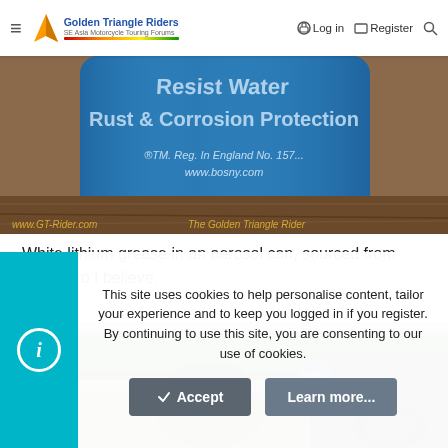Golden Triangle Riders — SE Asia Motorcycle Touring Forums | Log in | Register
[Figure (photo): Close-up of a blue cylindrical aerosol can with text 'Resist Water, Rust & Corrosion Protection', ®TM. Reg. In England No. 157... www.bosny.com, watermarks www.GT-Rider.com and The Golden Triangle Rider]
White lithium grease in an aerosol can, sourced from HomePro I believe.
[Figure (photo): Outdoor photo of a person in a dark cap bending over near a motorcycle, with a blue aerosol can visible, green hedges in background]
This site uses cookies to help personalise content, tailor your experience and to keep you logged in if you register.
By continuing to use this site, you are consenting to our use of cookies.
Accept | Learn more...